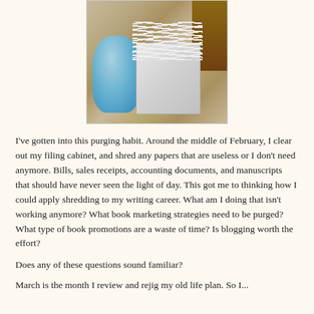[Figure (photo): Photo showing a blue plastic trash bag on carpet next to a white shredder bin overflowing with shredded paper strips, with bookshelves in the background]
I've gotten into this purging habit. Around the middle of February, I clear out my filing cabinet, and shred any papers that are useless or I don't need anymore. Bills, sales receipts, accounting documents, and manuscripts that should have never seen the light of day. This got me to thinking how I could apply shredding to my writing career. What am I doing that isn't working anymore? What book marketing strategies need to be purged? What type of book promotions are a waste of time? Is blogging worth the effort?
Does any of these questions sound familiar?
March is the month I review and rejig my old life plan. So I...